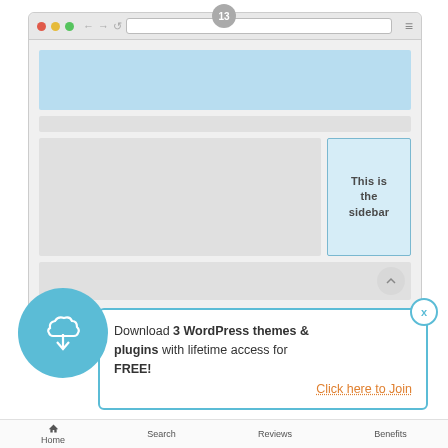[Figure (screenshot): Browser window mockup showing a webpage with a blue header banner, navigation bar, main content area with a light blue sidebar box labeled 'This is the sidebar', and a footer band with scroll-to-top button. A popup CTA overlay shows a teal download circle icon and text 'Download 3 WordPress themes & plugins with lifetime access for FREE!' with a 'Click here to Join' orange link.]
Home   Search   Reviews   Benefits